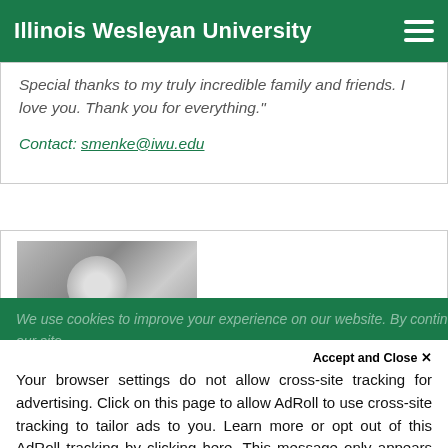Illinois Wesleyan University
Special thanks to my truly incredible family and friends. I love you. Thank you for everything."
Contact: smenke@iwu.edu
[Figure (photo): Black and white photo of a young man smiling]
We use cookies to improve your experience on our website. By continuing to use our site,
Your browser settings do not allow cross-site tracking for advertising. Click on this page to allow AdRoll to use cross-site tracking to tailor ads to you. Learn more or opt out of this AdRoll tracking by clicking here. This message only appears once.